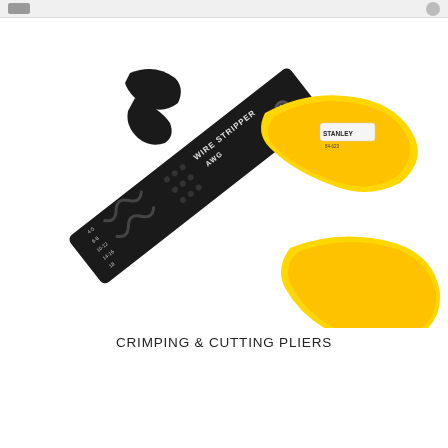[Figure (photo): Stanley brand crimping and cutting pliers / wire stripper with black metal body labeled 'WIRE STRIPPER AWG' with gauge markings, and yellow ergonomic handles, shown diagonally on white background.]
CRIMPING & CUTTING PLIERS